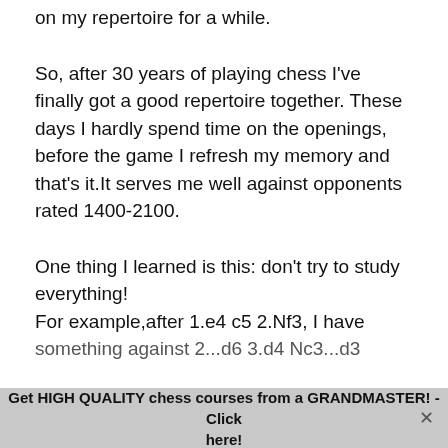on my repertoire for a while.
So, after 30 years of playing chess I've finally got a good repertoire together. These days I hardly spend time on the openings, before the game I refresh my memory and that's it.It serves me well against opponents rated 1400-2100.
One thing I learned is this: don't try to study everything!
For example,after 1.e4 c5 2.Nf3, I have
Get HIGH QUALITY chess courses from a GRANDMASTER! - Click here!